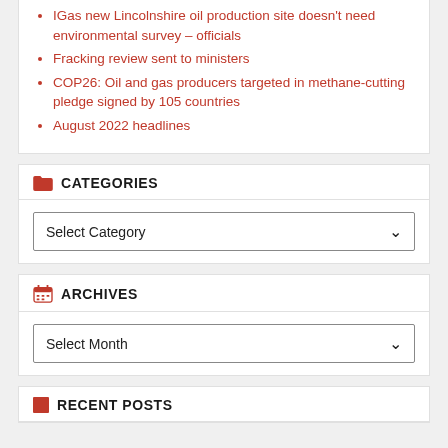IGas new Lincolnshire oil production site doesn't need environmental survey – officials
Fracking review sent to ministers
COP26: Oil and gas producers targeted in methane-cutting pledge signed by 105 countries
August 2022 headlines
CATEGORIES
Select Category
ARCHIVES
Select Month
RECENT POSTS